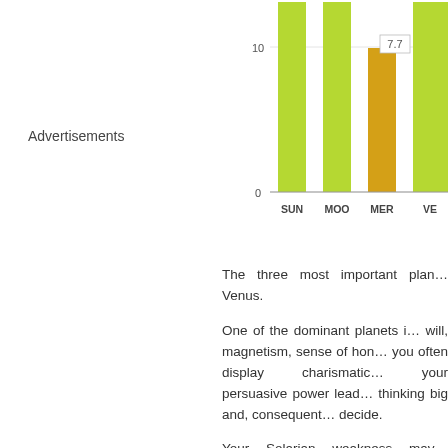Advertisements
[Figure (bar-chart): Planetary Strengths]
The three most important planets... Venus.
One of the dominant planets is... will, magnetism, sense of honor... you often display charismatic... your persuasive power lead... thinking big and, consequently... decide.
Your Solarian weakness may... authority. The frontier between... to overstep it and to keep t... charm.